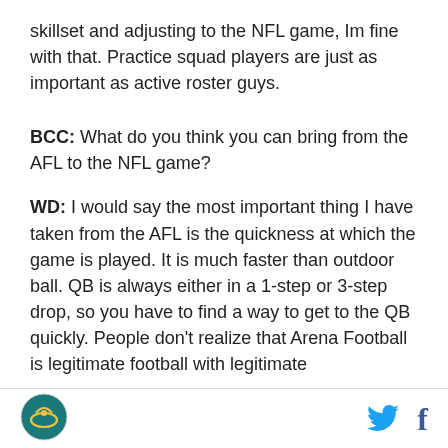skillset and adjusting to the NFL game, Im fine with that. Practice squad players are just as important as active roster guys.
BCC: What do you think you can bring from the AFL to the NFL game?
WD: I would say the most important thing I have taken from the AFL is the quickness at which the game is played. It is much faster than outdoor ball. QB is always either in a 1-step or 3-step drop, so you have to find a way to get to the QB quickly. People don't realize that Arena Football is legitimate football with legitimate
[Figure (logo): Sports website logo - circular emblem with dark teal/green color]